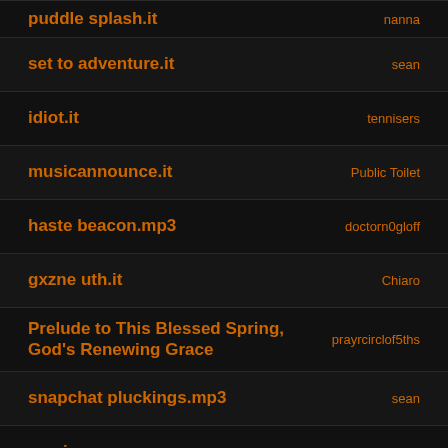puddle splash.it	nanna
set to adventure.it	sean
idiot.it	tennisers
musicannounce.it	Public Toilet
haste beacon.mp3	doctorn0gloff
gxzne uth.it	Chiaro
Prelude to This Blessed Spring, God's Renewing Grace	prayrcirclof5ths
snapchat pluckings.mp3	sean
magicorn.png	sean
sbt.wizard.png	Arcane Toaster